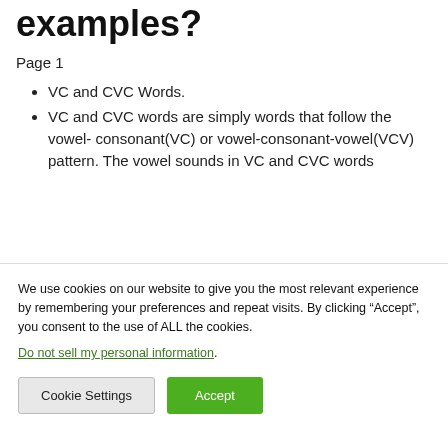examples?
Page 1
VC and CVC Words.
VC and CVC words are simply words that follow the vowel- consonant(VC) or vowel-consonant-vowel(VCV) pattern. The vowel sounds in VC and CVC words
We use cookies on our website to give you the most relevant experience by remembering your preferences and repeat visits. By clicking “Accept”, you consent to the use of ALL the cookies.
Do not sell my personal information.